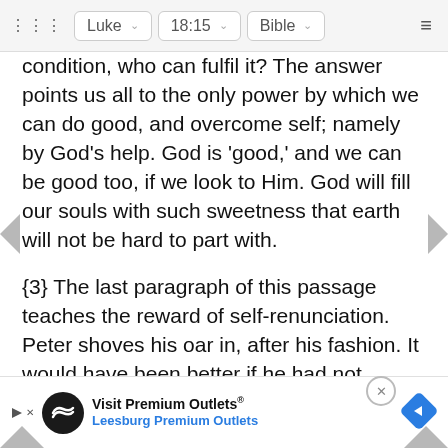Luke  18:15  Bible
condition, who can fulfil it?  The answer points us all to the only power by which we can do good, and overcome self; namely by God's help. God is 'good,' and we can be good too, if we look to Him. God will fill our souls with such sweetness that earth will not be hard to part with.
{3} The last paragraph of this passage teaches the reward of self-renunciation. Peter shoves his oar in, after his fashion. It would have been better if he had not boasted of their surrender, but yet it was true that they had given up all. Only a fishing-boat and a parcel of old nets, indeed, but these were all they had to give; and God's store, which holds His children's surrendered valuables, has many things of small value in it-cups of cold water and widows' mites...
So J...  self
[Figure (screenshot): Advertisement banner: Visit Premium Outlets® Leesburg Premium Outlets with logo icons and a close button]